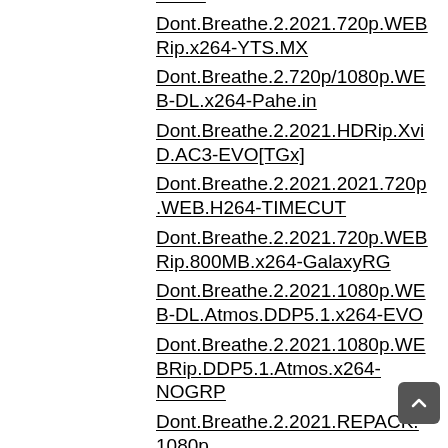ON10
Dont.Breathe.2.2021.720p.WEBRip.x264-YTS.MX
Dont.Breathe.2.720p/1080p.WEB-DL.x264-Pahe.in
Dont.Breathe.2.2021.HDRip.XviD.AC3-EVO[TGx]
Dont.Breathe.2.2021.2021.720p.WEB.H264-TIMECUT
Dont.Breathe.2.2021.720p.WEBRip.800MB.x264-GalaxyRG
Dont.Breathe.2.2021.1080p.WEB-DL.Atmos.DDP5.1.x264-EVO
Dont.Breathe.2.2021.1080p.WEBRip.DDP5.1.Atmos.x264-NOGRP
Dont.Breathe.2.2021.REPACK.1080p.